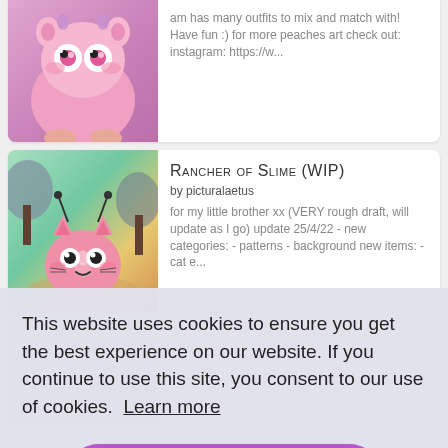[Figure (illustration): Partial card at top showing a pink creature/character illustration with purple background, partially cut off]
am has many outfits to mix and match with! Have fun :) for more peaches art check out: instagram: https://w...
[Figure (illustration): Card showing Rancher of Slime WIP - pink cat-like slime creature with antennae on colorful background with trees]
Rancher of Slime (WIP)
by picturalaetus
for my little brother xx (VERY rough draft, will update as I go) update 25/4/22 - new categories: - patterns - background new items: - cat e...
[Figure (illustration): Partial card showing Beanies Closet WIP with green/teal circular creature, partially obscured by cookie banner]
BEANIES CLOSET [WIP]
an~ A this is ccess
[Figure (illustration): Partial bottom card showing a doll character in dark outfit]
...R
by dollishgallerybat
Dress up this mysterious doll in cute, dark and lolita outfits...
This website uses cookies to ensure you get the best experience on our website. If you continue to use this site, you consent to our use of cookies.  Learn more
Got it!